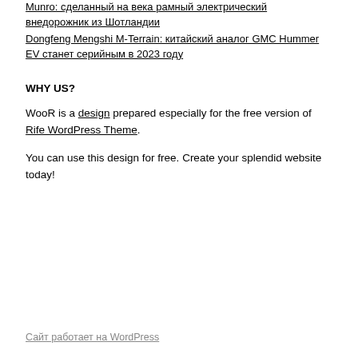Munro: сделанный на века рамный электрический внедорожник из Шотландии
Dongfeng Mengshi M-Terrain: китайский аналог GMC Hummer EV станет серийным в 2023 году
WHY US?
WooR is a design prepared especially for the free version of Rife WordPress Theme.
You can use this design for free. Create your splendid website today!
Сайт работает на WordPress